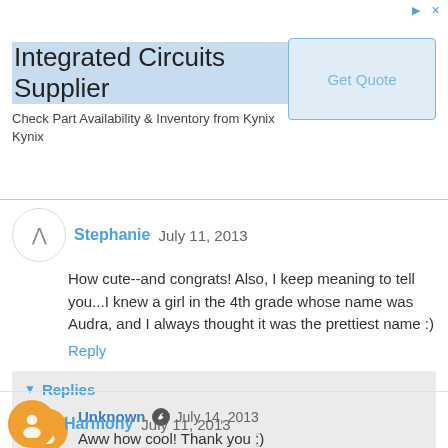[Figure (screenshot): Advertisement banner for Integrated Circuits Supplier - Kynix with Get Quote button]
Stephanie July 11, 2013
How cute--and congrats! Also, I keep meaning to tell you...I knew a girl in the 4th grade whose name was Audra, and I always thought it was the prettiest name :)
Reply
Replies
Unknown July 14, 2013
Aww how cool! Thank you :)
Reply
Harmony July 11, 2013